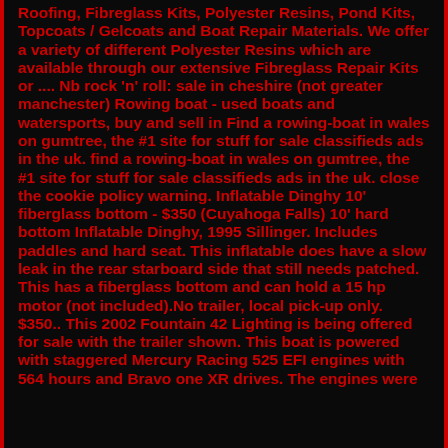Roofing, Fibreglass Kits, Polyester Resins, Pond Kits, Topcoats / Gelcoats and Boat Repair Materials. We offer a variety of different Polyester Resins which are available through our extensive Fibreglass Repair Kits or .... Nb rock 'n' roll: sale in cheshire (not greater manchester) Rowing boat - used boats and watersports, buy and sell in Find a rowing-boat in wales on gumtree, the #1 site for stuff for sale classifieds ads in the uk. find a rowing-boat in wales on gumtree, the #1 site for stuff for sale classifieds ads in the uk. close the cookie policy warning. Inflatable Dinghy 10' fiberglass bottom - $350 (Cuyahoga Falls) 10' hard bottom Inflatable Dinghy, 1995 Sillinger. Includes paddles and hard seat. This inflatable does have a slow leak in the rear starboard side that still needs patched. This has a fiberglass bottom and can hold a 15 hp motor (not included).No trailer, local pick-up only. $350.. This 2002 Fountain 42 Lighting is being offered for sale with the trailer shown. This boat is powered with staggered Mercury Racing 525 EFI engines with 564 hours and Bravo one XR drives. The engines were